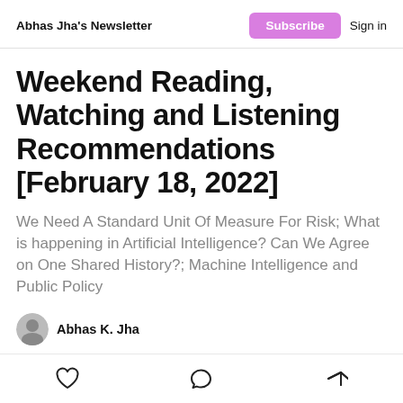Abhas Jha's Newsletter | Subscribe | Sign in
Weekend Reading, Watching and Listening Recommendations [February 18, 2022]
We Need A Standard Unit Of Measure For Risk; What is happening in Artificial Intelligence? Can We Agree on One Shared History?; Machine Intelligence and Public Policy
Abhas K. Jha